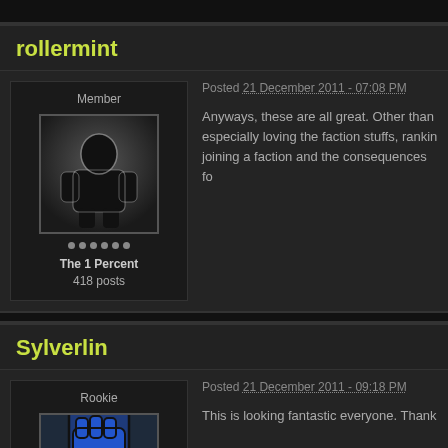rollermint
Member
Posted 21 December 2011 - 07:08 PM
Anyways, these are all great. Other than especially loving the faction stuffs, ranking joining a faction and the consequences fo
The 1 Percent
418 posts
Sylverlin
Rookie
Posted 21 December 2011 - 09:18 PM
This is looking fantastic everyone. Thank